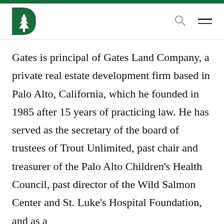Dartmouth College navigation header with logo, search icon, and menu icon
Gates is principal of Gates Land Company, a private real estate development firm based in Palo Alto, California, which he founded in 1985 after 15 years of practicing law. He has served as the secretary of the board of trustees of Trout Unlimited, past chair and treasurer of the Palo Alto Children’s Health Council, past director of the Wild Salmon Center and St. Luke’s Hospital Foundation, and as a